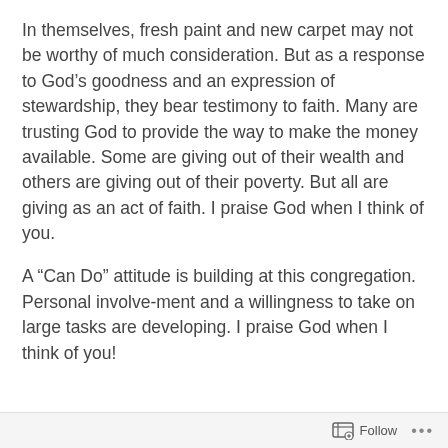In themselves, fresh paint and new carpet may not be worthy of much consideration.  But as a response to God’s goodness and an expression of stewardship, they bear testimony to faith.  Many are trusting God to provide the way to make the money available.  Some are giving out of their wealth and others are giving out of their poverty.  But all are giving as an act of faith.  I praise God when I think of you.
A “Can Do” attitude is building at this congregation.  Personal involve-ment and a willingness to take on large tasks are developing.  I praise God when I think of you!
...
Follow ...